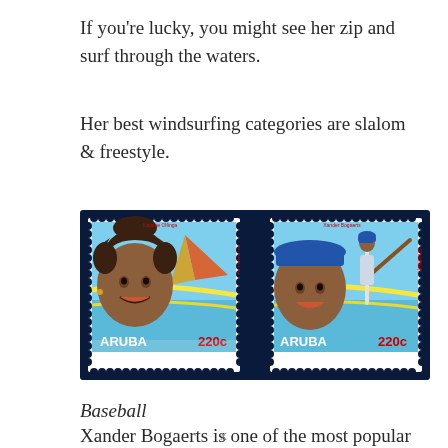If you're lucky, you might see her zip and surf through the waters.
Her best windsurfing categories are slalom & freestyle.
[Figure (photo): Two Aruba postage stamps side by side on a dark navy background. Left stamp shows a woman windsurfing (Natalee Offinga), labeled ARUBA 220c. Right stamp shows a baseball player batting (Xander Bogaerts), labeled ARUBA 220c.]
Baseball
Xander Bogaerts is one of the most popular